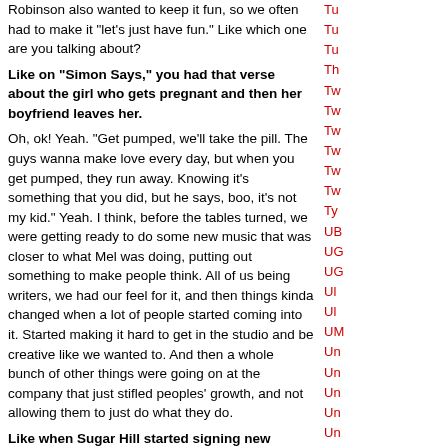Robinson also wanted to keep it fun, so we often had to make it "let's just have fun." Like which one are you talking about?
Like on "Simon Says," you had that verse about the girl who gets pregnant and then her boyfriend leaves her.
Oh, ok! Yeah. "Get pumped, we'll take the pill. The guys wanna make love every day, but when you get pumped, they run away. Knowing it's something that you did, but he says, boo, it's not my kid." Yeah. I think, before the tables turned, we were getting ready to do some new music that was closer to what Mel was doing, putting out something to make people think. All of us being writers, we had our feel for it, and then things kinda changed when a lot of people started coming into it. Started making it hard to get in the studio and be creative like we wanted to. And then a whole bunch of other things were going on at the company that just stifled peoples' growth, and not allowing them to just do what they do.
Like when Sugar Hill started signing new artists?
Yeah, when they brought new artists in, some of the artists that had been there earlier would be kicked to the backbone. If you weren't coming to them with something that was hitting, it wasn't going anyway. It had to be hitting like when they came with "Rapper's Delight" then "Funk You" then "8th Wonder" then "Together Forever"